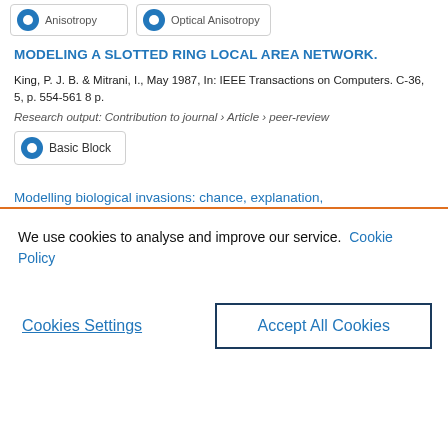Anisotropy
Optical Anisotropy
MODELING A SLOTTED RING LOCAL AREA NETWORK.
King, P. J. B. & Mitrani, I., May 1987, In: IEEE Transactions on Computers. C-36, 5, p. 554-561 8 p.
Research output: Contribution to journal › Article › peer-review
Basic Block
Modelling biological invasions: chance, explanation,
We use cookies to analyse and improve our service.  Cookie Policy
Cookies Settings
Accept All Cookies